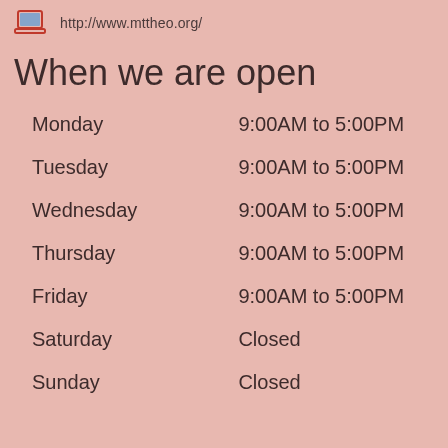http://www.mttheo.org/
When we are open
| Day | Hours |
| --- | --- |
| Monday | 9:00AM to 5:00PM |
| Tuesday | 9:00AM to 5:00PM |
| Wednesday | 9:00AM to 5:00PM |
| Thursday | 9:00AM to 5:00PM |
| Friday | 9:00AM to 5:00PM |
| Saturday | Closed |
| Sunday | Closed |